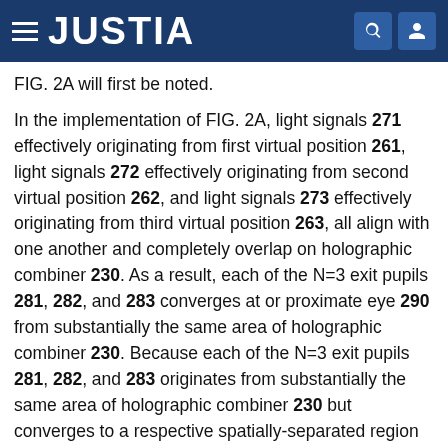JUSTIA
FIG. 2A will first be noted.
In the implementation of FIG. 2A, light signals 271 effectively originating from first virtual position 261, light signals 272 effectively originating from second virtual position 262, and light signals 273 effectively originating from third virtual position 263, all align with one another and completely overlap on holographic combiner 230. As a result, each of the N=3 exit pupils 281, 282, and 283 converges at or proximate eye 290 from substantially the same area of holographic combiner 230. Because each of the N=3 exit pupils 281, 282, and 283 originates from substantially the same area of holographic combiner 230 but converges to a respective spatially-separated region of eye 290, each of the N=3 exit pupils 281, 282, and 283 necessarily includes at least some light signals having incident angles (at eye 290), or reflection